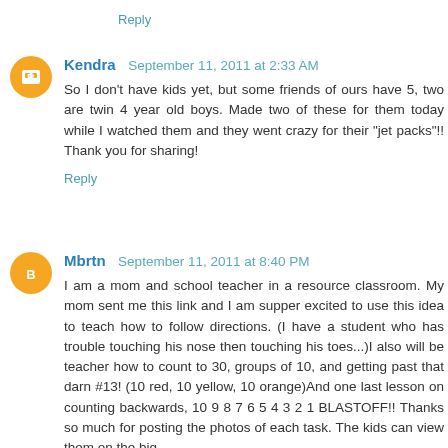Reply
Kendra September 11, 2011 at 2:33 AM
So I don't have kids yet, but some friends of ours have 5, two are twin 4 year old boys. Made two of these for them today while I watched them and they went crazy for their "jet packs"!! Thank you for sharing!
Reply
Mbrtn September 11, 2011 at 8:40 PM
I am a mom and school teacher in a resource classroom. My mom sent me this link and I am supper excited to use this idea to teach how to follow directions. (I have a student who has trouble touching his nose then touching his toes...)I also will be teacher how to count to 30, groups of 10, and getting past that darn #13! (10 red, 10 yellow, 10 orange)And one last lesson on counting backwards, 10 9 8 7 6 5 4 3 2 1 BLASTOFF!! Thanks so much for posting the photos of each task. The kids can view them on the big